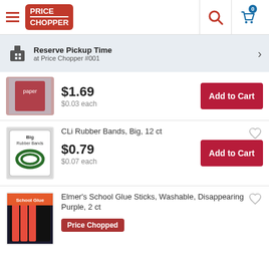[Figure (screenshot): Price Chopper app header with hamburger menu, logo, search icon, and cart icon with 0 items]
Reserve Pickup Time at Price Chopper #001
$1.69
$0.03 each
CLi Rubber Bands, Big, 12 ct
$0.79
$0.07 each
Elmer's School Glue Sticks, Washable, Disappearing Purple, 2 ct
Price Chopped